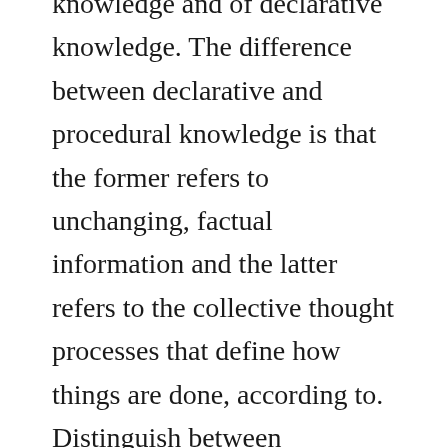knowledge and of declarative knowledge. The difference between declarative and procedural knowledge is that the former refers to unchanging, factual information and the latter refers to the collective thought processes that define how things are done, according to. Distinguish between declarative and procedural knowledge. The importance of balancing these three knowledge areas across mathematics content areas is noted. The fact that information is coded in procedural form does not mean it can never be articulated. An example is the knowledge one has for riding a